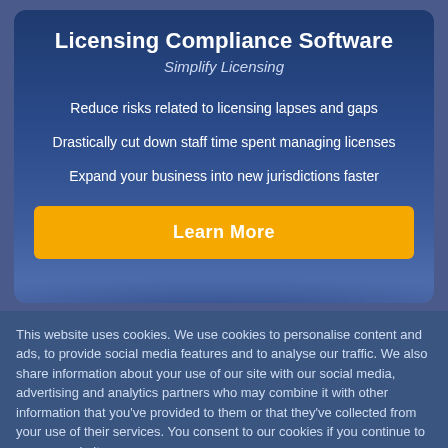Licensing Compliance Software
Simplify Licensing
Reduce risks related to licensing lapses and gaps
Drastically cut down staff time spent managing licenses
Expand your business into new jurisdictions faster
Learn More
This website uses cookies. We use cookies to personalise content and ads, to provide social media features and to analyse our traffic. We also share information about your use of our site with our social media, advertising and analytics partners who may combine it with other information that you've provided to them or that they've collected from your use of their services. You consent to our cookies if you continue to use our website.
Dismiss